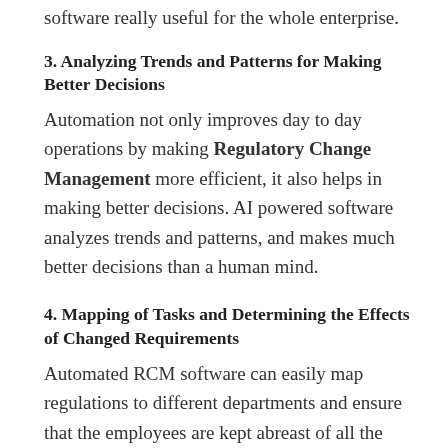software really useful for the whole enterprise.
3. Analyzing Trends and Patterns for Making Better Decisions
Automation not only improves day to day operations by making Regulatory Change Management more efficient, it also helps in making better decisions. AI powered software analyzes trends and patterns, and makes much better decisions than a human mind.
4. Mapping of Tasks and Determining the Effects of Changed Requirements
Automated RCM software can easily map regulations to different departments and ensure that the employees are kept abreast of all the relevant information. As employees have the required information, they are less